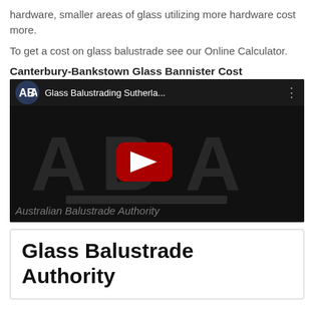hardware, smaller areas of glass utilizing more hardware cost more.
To get a cost on glass balustrade see our Online Calculator.
Canterbury-Bankstown Glass Bannister Cost
[Figure (screenshot): YouTube video thumbnail for 'Glass Balustrading Sutherla...' by Australian Balustrade Authority (ABA), showing the ABA logo watermark in grey on a dark background with a red YouTube play button in the center. Text at bottom reads 'Australian Balustrade Authority'.]
Glass Balustrade Authority